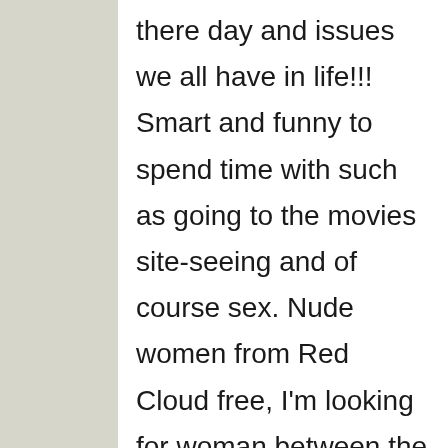there day and issues we all have in life!!! Smart and funny to spend time with such as going to the movies site-seeing and of course sex. Nude women from Red Cloud free, I'm looking for woman between the ages. A friend told me/us about this so we/i thought i/we would. However I'm not looking to hook up for some fun really I have no types any ways keep smiling girls.